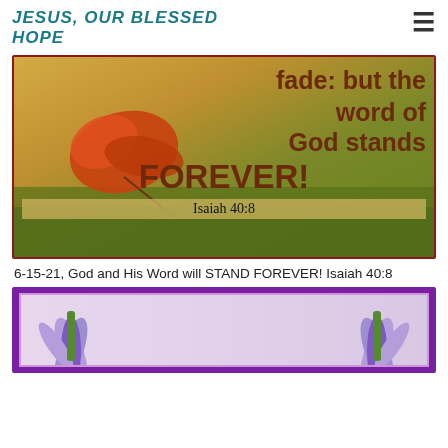JESUS, OUR BLESSED HOPE
[Figure (photo): Inspirational image with autumn maple leaf on grass background, text overlay reading: fade: but the word of God stands FOREVER! Isaiah 40:8]
6-15-21, God and His Word will STAND FOREVER! Isaiah 40:8
[Figure (photo): Purple framed image with flowers, partially visible at bottom of page]